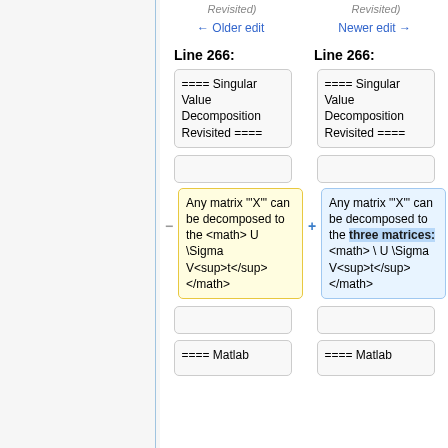← Older edit   Newer edit →
Line 266:   Line 266:
==== Singular Value Decomposition Revisited ====
Any matrix "'X'" can be decomposed to the <math> U \Sigma V<sup>t</sup></math>
Any matrix "'X'" can be decomposed to the three matrices: <math> \ U \Sigma V<sup>t</sup></math>
==== Matlab
==== Matlab